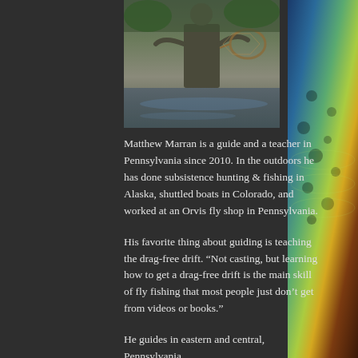[Figure (photo): A fly fisherman standing in a river holding a fishing net, wearing waders and outdoor clothing]
Matthew Marran is a guide and a teacher in Pennsylvania since 2010. In the outdoors he has done subsistence hunting & fishing in Alaska, shuttled boats in Colorado, and worked at an Orvis fly shop in Pennsylvania.
His favorite thing about guiding is teaching the drag-free drift. “Not casting, but learning how to get a drag-free drift is the main skill of fly fishing that most people just don’t get from videos or books.”
He guides in eastern and central, Pennsylvania.
He lives on his family’s farm in Chester County.
[Figure (photo): Close-up of a brown trout with spotted pattern, held by a fisherman]